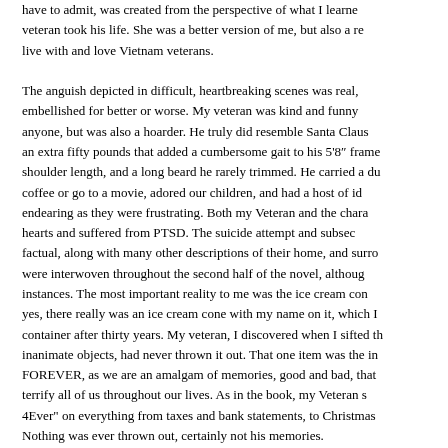have to admit, was created from the perspective of what I learned when a veteran took his life. She was a better version of me, but also a reminder to live with and love Vietnam veterans.

The anguish depicted in difficult, heartbreaking scenes was real, not embellished for better or worse. My veteran was kind and funny with anyone, but was also a hoarder. He truly did resemble Santa Claus with an extra fifty pounds that added a cumbersome gait to his 5'8" frame, hair shoulder length, and a long beard he rarely trimmed. He carried a du... coffee or go to a movie, adored our children, and had a host of id... endearing as they were frustrating. Both my Veteran and the chara... hearts and suffered from PTSD. The suicide attempt and subse... factual, along with many other descriptions of their home, and surro... were interwoven throughout the second half of the novel, althou... instances. The most important reality to me was the ice cream con... yes, there really was an ice cream cone with my name on it, which I... container after thirty years. My veteran, I discovered when I sifted th... inanimate objects, had never thrown it out. That one item was the in... FOREVER, as we are an amalgam of memories, good and bad, that... terrify all of us throughout our lives. As in the book, my Veteran s... 4Ever" on everything from taxes and bank statements, to Christmas... Nothing was ever thrown out, certainly not his memories.